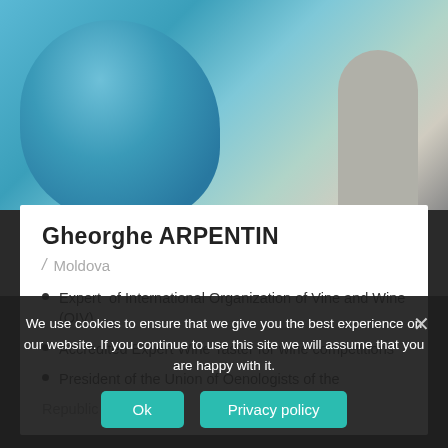[Figure (photo): Photo of Gheorghe Arpentin, person in blue shirt holding something, partial crop at top]
Gheorghe ARPENTIN
/ Moldova
Expert of International Organization of Vine and Wine (OIV)
Accredited Expert Wine Taster for wine competitions
President of the Union of Oenologists of the Republic of Moldova
We use cookies to ensure that we give you the best experience on our website. If you continue to use this site we will assume that you are happy with it.
Ok
Privacy policy